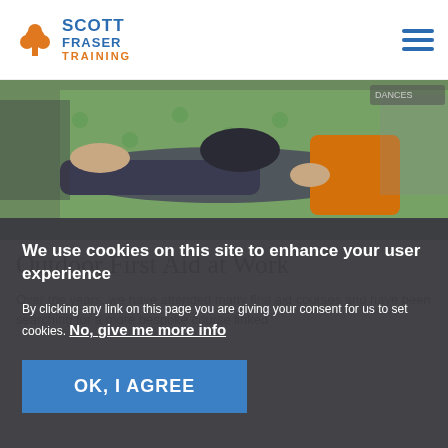Scott Fraser Training
[Figure (photo): People practicing first aid on a person lying on a green mat on the floor; an instructor in an orange jacket is visible]
Outdoor First Aid at Work
Over the years, we have attended many first aid courses and have been searching for a more bespoke course linked
We use cookies on this site to enhance your user experience

By clicking any link on this page you are giving your consent for us to set cookies. No, give me more info
OK, I AGREE